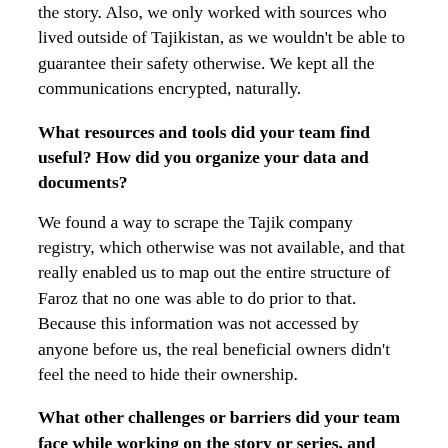the story. Also, we only worked with sources who lived outside of Tajikistan, as we wouldn't be able to guarantee their safety otherwise. We kept all the communications encrypted, naturally.
What resources and tools did your team find useful? How did you organize your data and documents?
We found a way to scrape the Tajik company registry, which otherwise was not available, and that really enabled us to map out the entire structure of Faroz that no one was able to do prior to that. Because this information was not accessed by anyone before us, the real beneficial owners didn't feel the need to hide their ownership.
What other challenges or barriers did your team face while working on the story or series, and how did you overcome these challenges?
The absence of land and court records in Tajikistan was the main challenge. I think to some extent you really